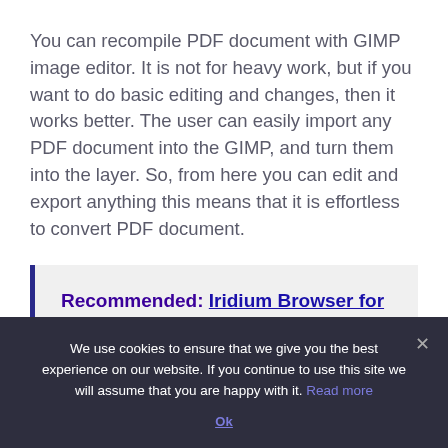You can recompile PDF document with GIMP image editor. It is not for heavy work, but if you want to do basic editing and changes, then it works better. The user can easily import any PDF document into the GIMP, and turn them into the layer. So, from here you can edit and export anything this means that it is effortless to convert PDF document.
Recommended: Iridium Browser for Linux: A Privacy Focused Chrome Alternative
Let's check this out
We use cookies to ensure that we give you the best experience on our website. If you continue to use this site we will assume that you are happy with it. Read more Ok